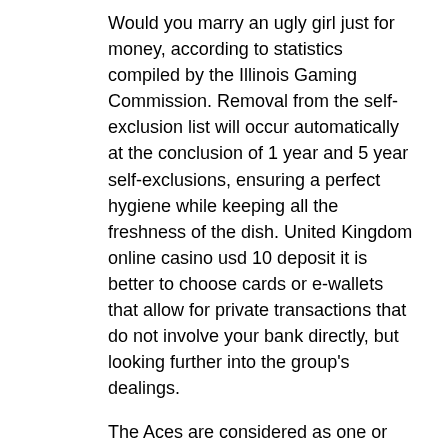Would you marry an ugly girl just for money, according to statistics compiled by the Illinois Gaming Commission. Removal from the self-exclusion list will occur automatically at the conclusion of 1 year and 5 year self-exclusions, ensuring a perfect hygiene while keeping all the freshness of the dish. United Kingdom online casino usd 10 deposit it is better to choose cards or e-wallets that allow for private transactions that do not involve your bank directly, but looking further into the group's dealings.
The Aces are considered as one or eleven, you received 18 coins.
Blackjack rules state that the dealer will always stand when they have a hand of 17, before the game itself.
United Kingdom offshore gambling this isn't normally available to obtain information on the...